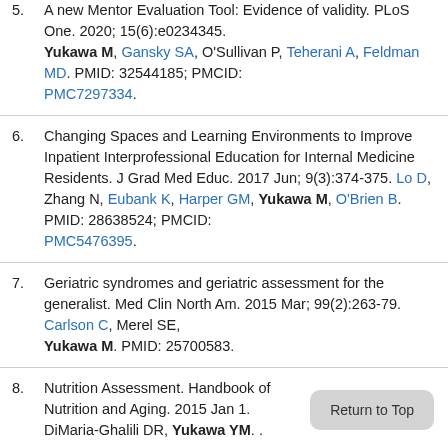5. A new Mentor Evaluation Tool: Evidence of validity. PLoS One. 2020; 15(6):e0234345. Yukawa M, Gansky SA, O'Sullivan P, Teherani A, Feldman MD. PMID: 32544185; PMCID: PMC7297334.
6. Changing Spaces and Learning Environments to Improve Inpatient Interprofessional Education for Internal Medicine Residents. J Grad Med Educ. 2017 Jun; 9(3):374-375. Lo D, Zhang N, Eubank K, Harper GM, Yukawa M, O'Brien B. PMID: 28638524; PMCID: PMC5476395.
7. Geriatric syndromes and geriatric assessment for the generalist. Med Clin North Am. 2015 Mar; 99(2):263-79. Carlson C, Merel SE, Yukawa M. PMID: 25700583.
8. Nutrition Assessment. Handbook of Nutrition and Aging. 2015 Jan 1. DiMaria-Ghalili DR, Yukawa YM. .